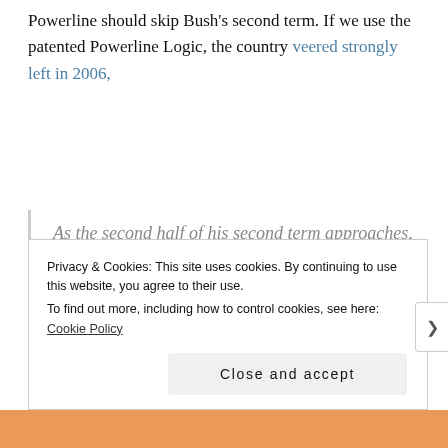Powerline should skip Bush’s second term. If we use the patented Powerline Logic, the country veered strongly left in 2006,
As the second half of his second term approaches, President Bush’s job performance continues to receive poor reviews from the American public. In 21 of 27 states surveyed by Rasmussen Reports
Privacy & Cookies: This site uses cookies. By continuing to use this website, you agree to their use.
To find out more, including how to control cookies, see here: Cookie Policy
Close and accept